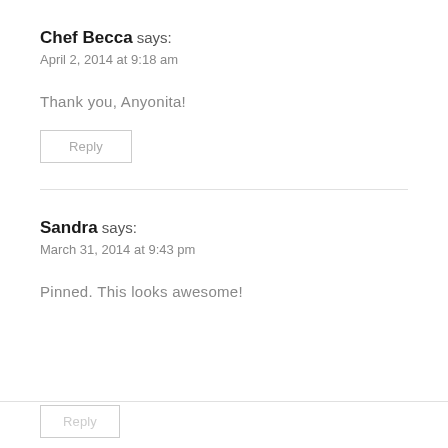Chef Becca says:
April 2, 2014 at 9:18 am
Thank you, Anyonita!
Reply
Sandra says:
March 31, 2014 at 9:43 pm
Pinned. This looks awesome!
Reply